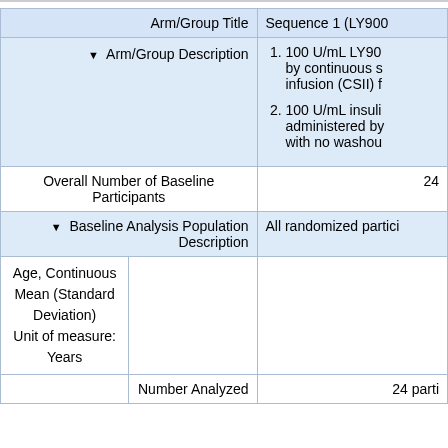| Arm/Group Title | Sequence 1 (LY900... |
| --- | --- |
| ▼ Arm/Group Description | 1. 100 U/mL LY90... by continuous s... infusion (CSII) f...
2. 100 U/mL insuli... administered by... with no washou... |
| Overall Number of Baseline Participants | 24 |
| ▼ Baseline Analysis Population Description | All randomized partici... |
| Age, Continuous
Mean (Standard Deviation)
Unit of measure: Years |  |  |
|  | Number Analyzed | 24 parti... |